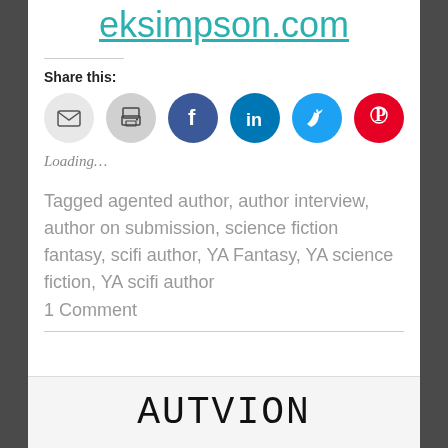eksimpson.com
Share this:
[Figure (other): Social share buttons: email, print, Facebook, LinkedIn, Twitter, Pinterest]
Loading...
Tagged agented author, author interview, author on submission, science fiction fantasy, scifi author, YA Fantasy, YA science fiction, YA scifi author
1 Comment
[Figure (other): Author handwritten-style text banner at bottom of page]